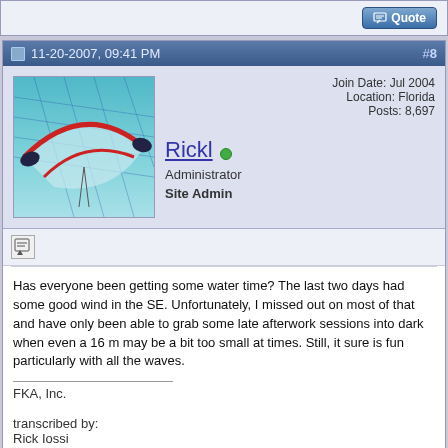[Figure (screenshot): Top bar with Quote button]
11-20-2007, 09:41 PM  #8
[Figure (photo): Avatar image of a kite in the sky over water]
Rickl (online) Administrator Site Admin
Join Date: Jul 2004
Location: Florida
Posts: 8,697
Has everyone been getting some water time? The last two days had some good wind in the SE. Unfortunately, I missed out on most of that and have only been able to grab some late afterwork sessions into dark when even a 16 m may be a bit too small at times. Still, it sure is fun particularly with all the waves.
FKA, Inc.

transcribed by:
Rick Iossi
[Figure (screenshot): Quote button at bottom right]